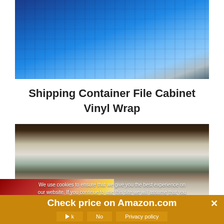[Figure (photo): Blue shipping containers stacked and arranged to look like a file cabinet with open drawers, on a dark textured floor]
Shipping Container File Cabinet Vinyl Wrap
[Figure (photo): Interior living room scene with a tufted sofa, window with wooden blinds, and a dresser with clock, slightly dimmed by overlay]
We use cookies to ensure that we give you the best experience on our website. If you continue to use this site we will assume that you are happy with it.
Check price on Amazon.com
Ok   No   Privacy policy